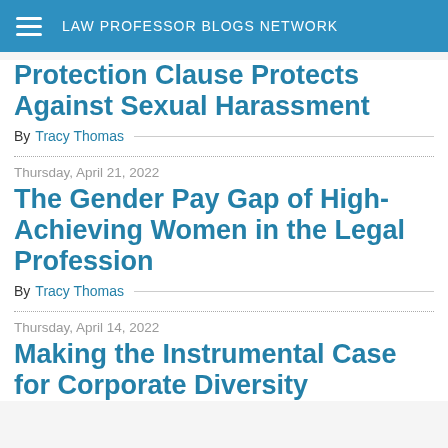LAW PROFESSOR BLOGS NETWORK
Protection Clause Protects Against Sexual Harassment
By Tracy Thomas
Thursday, April 21, 2022
The Gender Pay Gap of High-Achieving Women in the Legal Profession
By Tracy Thomas
Thursday, April 14, 2022
Making the Instrumental Case for Corporate Diversity